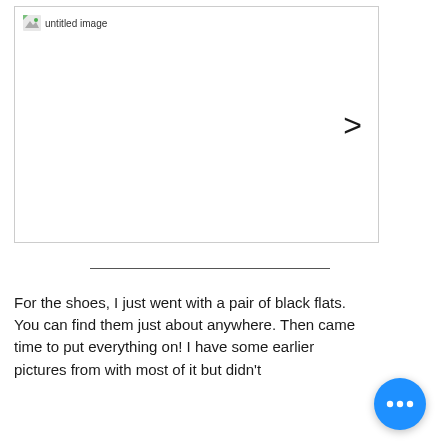[Figure (screenshot): A white image placeholder box with a broken image icon and 'untitled image' label in the top-left corner, and a right-angle bracket '>' navigation arrow on the right side.]
For the shoes, I just went with a pair of black flats. You can find them just about anywhere. Then came time to put everything on! I have some earlier pictures from with most of it but didn't...